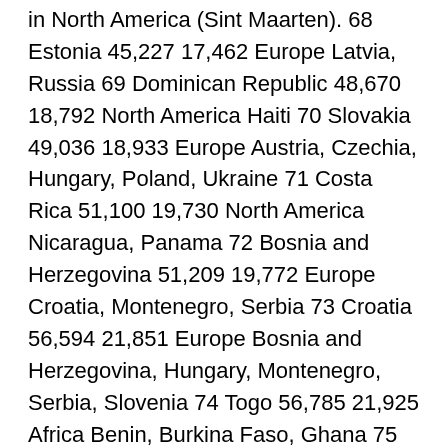in North America (Sint Maarten). 68 Estonia 45,227 17,462 Europe Latvia, Russia 69 Dominican Republic 48,670 18,792 North America Haiti 70 Slovakia 49,036 18,933 Europe Austria, Czechia, Hungary, Poland, Ukraine 71 Costa Rica 51,100 19,730 North America Nicaragua, Panama 72 Bosnia and Herzegovina 51,209 19,772 Europe Croatia, Montenegro, Serbia 73 Croatia 56,594 21,851 Europe Bosnia and Herzegovina, Hungary, Montenegro, Serbia, Slovenia 74 Togo 56,785 21,925 Africa Benin, Burkina Faso, Ghana 75 Latvia 64,589 24,938 Europe Belarus, Estonia, Lithuania, Russia 76 Lithuania 65,300 25,212 Europe Belarus, Latvia, Poland, Russia (Kaliningrad Oblast) 77 Sri Lanka 65,610 25,332 Asia – 78 Georgia 69,700 26,911 Asia / Europe